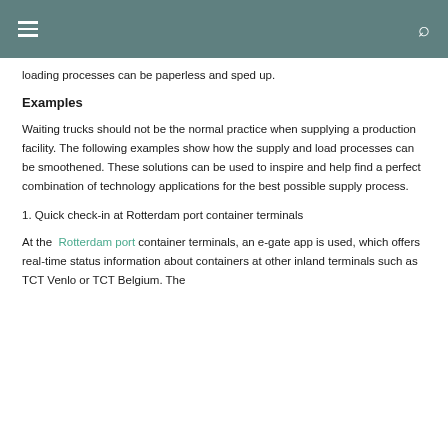≡  [search icon]
loading processes can be paperless and sped up.
Examples
Waiting trucks should not be the normal practice when supplying a production facility. The following examples show how the supply and load processes can be smoothened. These solutions can be used to inspire and help find a perfect combination of technology applications for the best possible supply process.
1. Quick check-in at Rotterdam port container terminals
At the Rotterdam port container terminals, an e-gate app is used, which offers real-time status information about containers at other inland terminals such as TCT Venlo or TCT Belgium. The